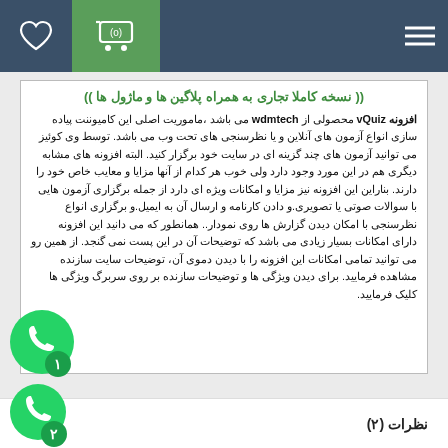Navigation bar with heart icon, cart icon, and menu icon
(( نسخه کاملا تجاری به همراه پلاگین ها و ماژول ها ))
افزونه vQuiz محصولی از wdmtech می باشد ،ماموریت اصلی این کامیوننت پیاده سازی انواع آزمون های آنلاین و یا نظرسنجی های تحت وب می باشد. توسط وی کوئیز می توانید آزمون های چند گزینه ای در سایت خود برگزار کنید. البته افزونه های مشابه دیگری هم در این مورد وجود دارد ولی خوب هر کدام از آنها مزایا و معایب خاص خود را دارند. بناراین این افزونه نیز مزایا و امکانات ویژه ای دارد از جمله برگزاری آزمون هایی با سوالات صوتی یا تصویری.و دادن کارنامه و ارسال آن به ایمیل.و برگزاری انواع نظرسنجی با امکان دیدن گزارش ها روی نمودار.. همانطور که می دانید این افزونه دارای امکانات بسیار زیادی می باشد که توضیحات آن در این پست نمی گنجد. از همین رو می توانید تمامی امکانات این افزونه را با دیدن دموی آن، توضیحات سایت سازنده مشاهده فرمایید. برای دیدن ویژگی ها و توضیحات سازنده بر روی سربرگ ویژگی ها کلیک فرمایید.
نظرات (۲)